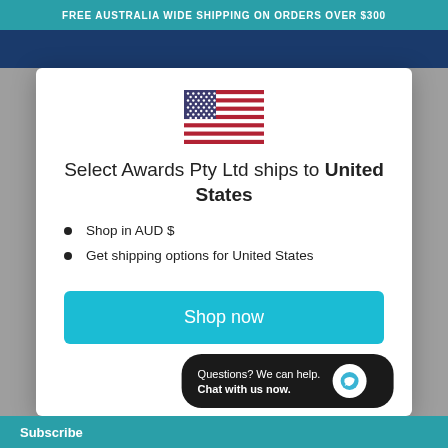FREE AUSTRALIA WIDE SHIPPING ON ORDERS OVER $300
[Figure (screenshot): US flag icon shown in the modal dialog]
Select Awards Pty Ltd ships to United States
Shop in AUD $
Get shipping options for United States
Shop now
Questions? We can help. Chat with us now.
Subscribe